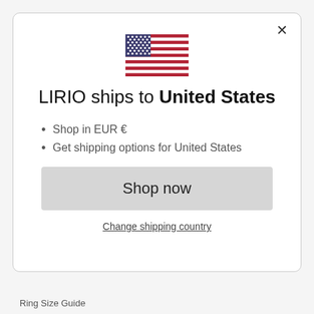[Figure (illustration): US flag emoji/icon centered at top of modal]
LIRIO ships to United States
Shop in EUR €
Get shipping options for United States
Shop now
Change shipping country
Ring Size Guide